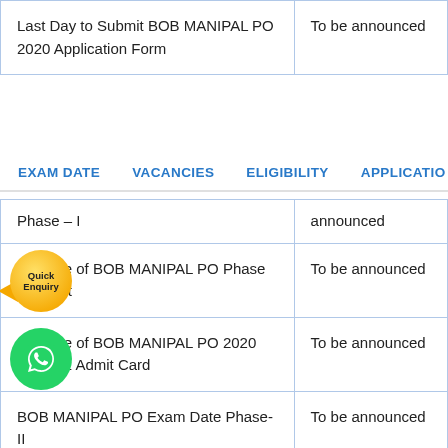| Event | Date |
| --- | --- |
| Last Day to Submit BOB MANIPAL PO 2020 Application Form | To be announced |
| Phase – I | announced |
| Release of BOB MANIPAL PO Phase 1 Result | To be announced |
| Release of BOB MANIPAL PO 2020 Phase 2 Admit Card | To be announced |
| BOB MANIPAL PO Exam Date Phase-II | To be announced |